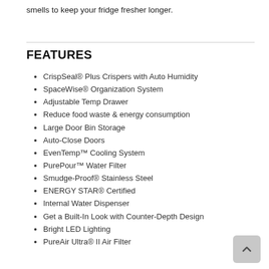smells to keep your fridge fresher longer.
FEATURES
CrispSeal® Plus Crispers with Auto Humidity
SpaceWise® Organization System
Adjustable Temp Drawer
Reduce food waste & energy consumption
Large Door Bin Storage
Auto-Close Doors
EvenTemp™ Cooling System
PurePour™ Water Filter
Smudge-Proof® Stainless Steel
ENERGY STAR® Certified
Internal Water Dispenser
Get a Built-In Look with Counter-Depth Design
Bright LED Lighting
PureAir Ultra® II Air Filter